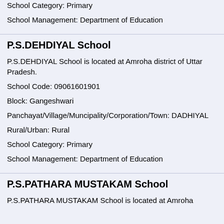School Category: Primary
School Management: Department of Education
P.S.DEHDIYAL School
P.S.DEHDIYAL School is located at Amroha district of Uttar Pradesh.
School Code: 09061601901
Block: Gangeshwari
Panchayat/Village/Muncipality/Corporation/Town: DADHIYAL
Rural/Urban: Rural
School Category: Primary
School Management: Department of Education
P.S.PATHARA MUSTAKAM School
P.S.PATHARA MUSTAKAM School is located at Amroha